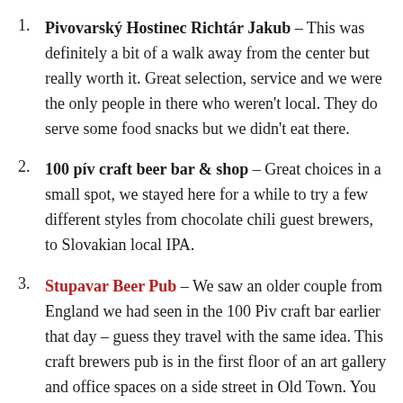Pivovarský Hostinec Richtár Jakub – This was definitely a bit of a walk away from the center but really worth it. Great selection, service and we were the only people in there who weren't local. They do serve some food snacks but we didn't eat there.
100 pív craft beer bar & shop – Great choices in a small spot, we stayed here for a while to try a few different styles from chocolate chili guest brewers, to Slovakian local IPA.
Stupavar Beer Pub – We saw an older couple from England we had seen in the 100 Piv craft bar earlier that day – guess they travel with the same idea. This craft brewers pub is in the first floor of an art gallery and office spaces on a side street in Old Town. You would never know...